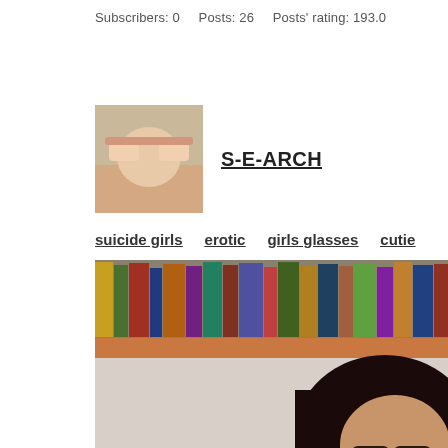Subscribers: 0    Posts: 26    Posts' rating: 193.0
[Figure (photo): Small square avatar photo of a person covering their eyes with their hands]
S-E-ARCH
suicide girls
erotic
girls glasses
cutie
[Figure (photo): A dark-haired woman wearing glasses in front of a bookshelf with colorful books]